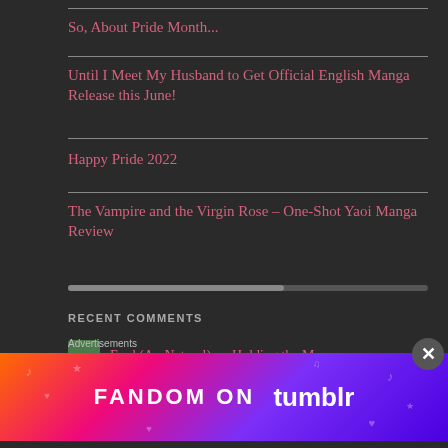So, About Pride Month...
Until I Meet My Husband to Get Official English Manga Release this June!
Happy Pride 2022
The Vampire and the Virgin Rose – One-Shot Yaoi Manga Review
RECENT COMMENTS
Fred (Au Natural) on Holding the Man
[Figure (screenshot): Fandom on Tumblr advertisement banner with colorful gradient background]
Advertisements